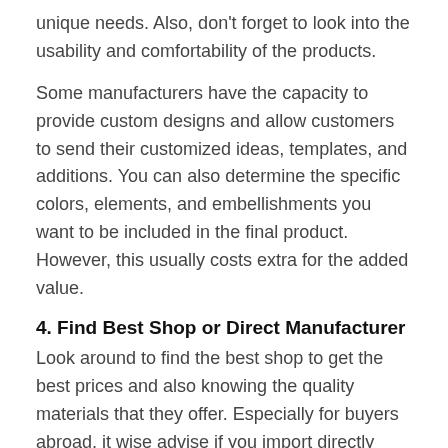unique needs. Also, don't forget to look into the usability and comfortability of the products.
Some manufacturers have the capacity to provide custom designs and allow customers to send their customized ideas, templates, and additions. You can also determine the specific colors, elements, and embellishments you want to be included in the final product. However, this usually costs extra for the added value.
4. Find Best Shop or Direct Manufacturer
Look around to find the best shop to get the best prices and also knowing the quality materials that they offer. Especially for buyers abroad, it wise advise if you import directly from the manufacturer because some of Bali furniture stores are supplying from Jepara which well-known city that produce quality furniture. This will reduce cost compared if you buy from a shop in Bali.